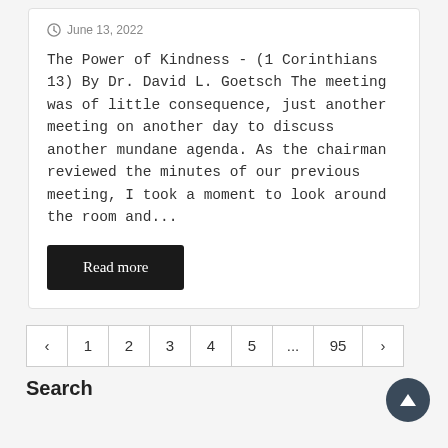June 13, 2022
The Power of Kindness - (1 Corinthians 13) By Dr. David L. Goetsch The meeting was of little consequence, just another meeting on another day to discuss another mundane agenda. As the chairman reviewed the minutes of our previous meeting, I took a moment to look around the room and...
Read more
< 1 2 3 4 5 ... 95 >
Search